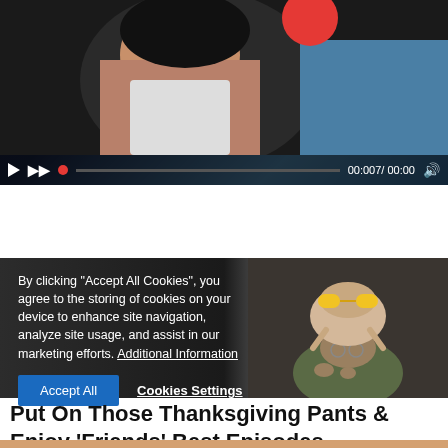[Figure (screenshot): Video player showing a person in a white top, with playback controls at bottom including play button, skip, progress bar with red dot, time display 00:007/00:00, and red volume icon]
[Figure (screenshot): Cookie consent overlay on dark background image. Left side shows white text with cookie policy and Accept All / Cookies Settings buttons. Right side shows a person wearing a turkey on their head with yellow sunglasses.]
Put On Those Thanksgiving Pants & Enjoy 'Friends' Best Episodes
BRAINBERRIES